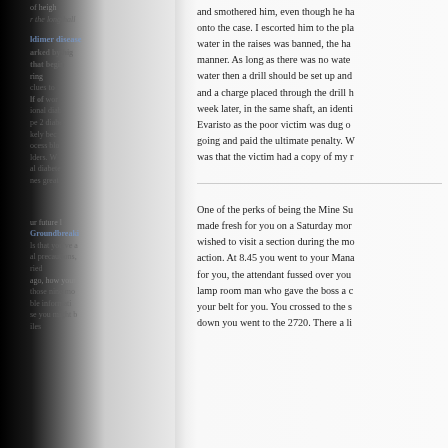and smothered him, even though he ha onto the case. I escorted him to the pla water in the raises was banned, the ha manner. As long as there was no wate water then a drill should be set up and and a charge placed through the drill h week later, in the same shaft, an identi Evaristo as the poor victim was dug o going and paid the ultimate penalty. W was that the victim had a copy of my r
One of the perks of being the Mine Su made fresh for you on a Saturday mor wished to visit a section during the mo action. At 8.45 you went to your Mana for you, the attendant fussed over you lamp room man who gave the boss a c your belt for you. You crossed to the s down you went to the 2720. There a li